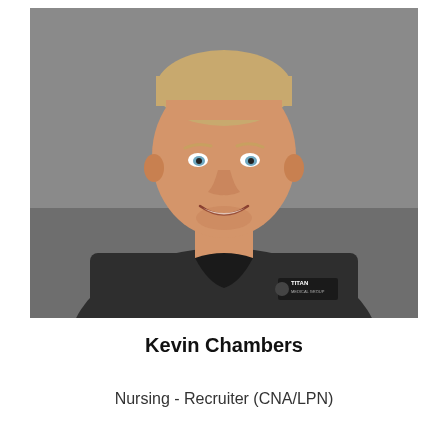[Figure (photo): Professional headshot photo of Kevin Chambers, a man with short blonde hair, smiling, wearing a dark charcoal t-shirt with a Titan Medical Group logo on the chest, against a gray background.]
Kevin Chambers
Nursing - Recruiter (CNA/LPN)